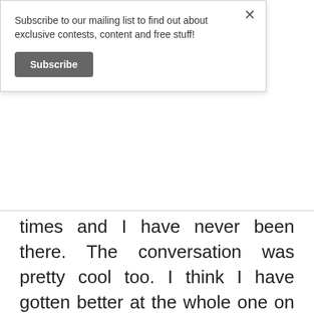Subscribe to our mailing list to find out about exclusive contests, content and free stuff!
Subscribe
times and I have never been there. The conversation was pretty cool too. I think I have gotten better at the whole one on one thing lately. Or maybe, girls are making it easier on me lately. Which ever the case, the conversation has been flowing. The only problem is when I ask about her day, she starts rattling off these huge words and acronyms pertaining to medical conditions and procedures and I have to ask her to break it down for me every single time. I